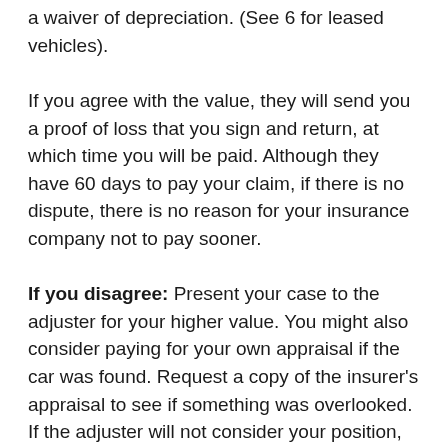a waiver of depreciation. (See 6 for leased vehicles).
If you agree with the value, they will send you a proof of loss that you sign and return, at which time you will be paid. Although they have 60 days to pay your claim, if there is no dispute, there is no reason for your insurance company not to pay sooner.
If you disagree: Present your case to the adjuster for your higher value. You might also consider paying for your own appraisal if the car was found. Request a copy of the insurer's appraisal to see if something was overlooked. If the adjuster will not consider your position, you should elevate the discussion to the supervisor, manager or ombudsman. If you can't reach an agreement, you might have to consider the arbitration route or sue. If you decide to do this, you must begin within a